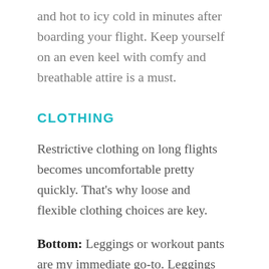and hot to icy cold in minutes after boarding your flight. Keep yourself on an even keel with comfy and breathable attire is a must.
CLOTHING
Restrictive clothing on long flights becomes uncomfortable pretty quickly. That’s why loose and flexible clothing choices are key.
Bottom: Leggings or workout pants are my immediate go-to. Leggings are stretchy and can